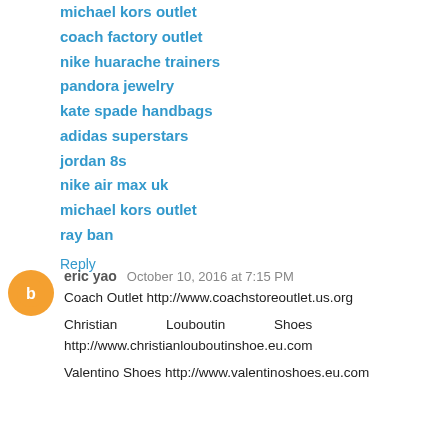michael kors outlet
coach factory outlet
nike huarache trainers
pandora jewelry
kate spade handbags
adidas superstars
jordan 8s
nike air max uk
michael kors outlet
ray ban
Reply
eric yao  October 10, 2016 at 7:15 PM
Coach Outlet http://www.coachstoreoutlet.us.org
Christian Louboutin Shoes http://www.christianlouboutinshoe.eu.com
Valentino Shoes http://www.valentinoshoes.eu.com